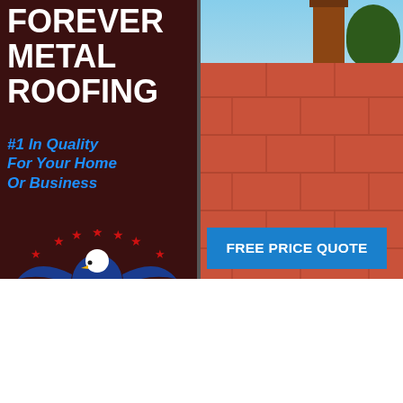[Figure (illustration): Advertisement for Forever Metal Roofing / American Metal Roofs of Northern Wisconsin. Left side: dark brown background with white bold text 'FOREVER METAL ROOFING', blue italic text '#1 In Quality For Your Home Or Business', eagle logo with stars and yellow AMR initials, white text 'American Metal Roofs of Northern Wisconsin Made in America'. Right side: photo of red/terracotta metal roof panels with brick chimney and blue sky with evergreen tree. Blue button with white text 'FREE PRICE QUOTE'.]
FOREVER METAL ROOFING
#1 In Quality For Your Home Or Business
American Metal Roofs of Northern Wisconsin Made in America
FREE PRICE QUOTE